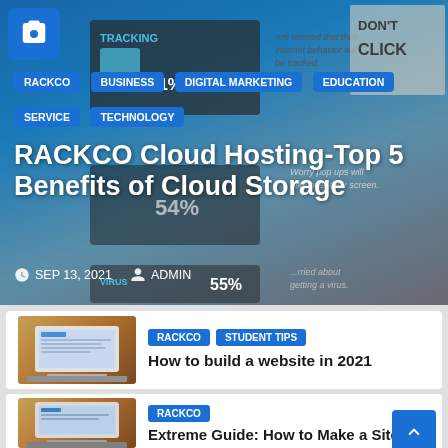[Figure (screenshot): Hero banner with infographic background showing tracking/internet security statistics, overlaid with category tags and article title]
RACKCO
BUSINESS
DIGITAL MARKETING
EDUCATION
SERVICE
TECHNOLOGY
RACKCO Cloud Hosting-Top 5 Benefits of Cloud Storage
SEP 13, 2021  ADMIN
[Figure (photo): Laptop computer on wooden desk, showing a website interface]
RACKCO
STUDENT TIPS
How to build a website in 2021
[Figure (photo): Laptop computer on wooden desk, showing a website interface]
RACKCO
Extreme Guide: How to Make a Site